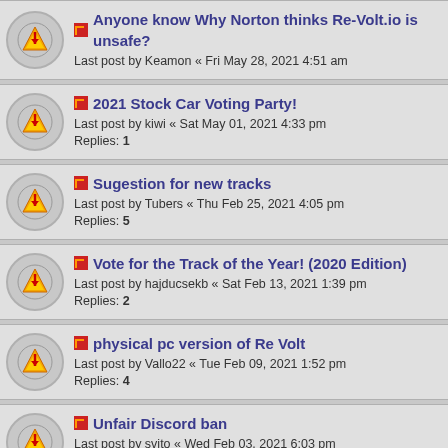Anyone know Why Norton thinks Re-Volt.io is unsafe? Last post by Keamon « Fri May 28, 2021 4:51 am
2021 Stock Car Voting Party! Last post by kiwi « Sat May 01, 2021 4:33 pm Replies: 1
Sugestion for new tracks Last post by Tubers « Thu Feb 25, 2021 4:05 pm Replies: 5
Vote for the Track of the Year! (2020 Edition) Last post by hajducsekb « Sat Feb 13, 2021 1:39 pm Replies: 2
physical pc version of Re Volt Last post by Vallo22 « Tue Feb 09, 2021 1:52 pm Replies: 4
Unfair Discord ban Last post by svito « Wed Feb 03, 2021 6:03 pm Replies: 7
Project Toy Last post by agg1401 « Tue Jan 19, 2021 6:26 am Replies: 1
Re(al)-Volt Last post by idkwhattotype « Tue Nov 17, 2020 7:20 pm